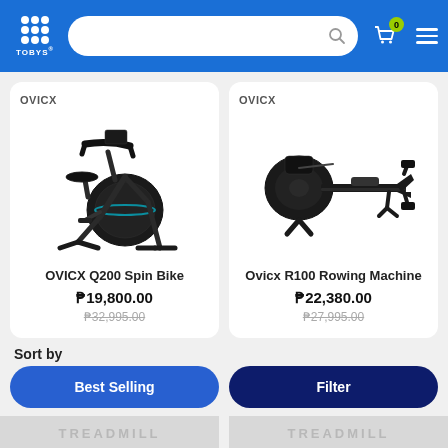[Figure (screenshot): Toby's Sports app header with logo, search bar, cart icon with badge showing 0, and hamburger menu on blue background]
[Figure (photo): OVICX Q200 Spin Bike product photo - black spin bike on white background]
OVICX
OVICX Q200 Spin Bike
₱19,800.00
₱32,995.00
[Figure (photo): Ovicx R100 Rowing Machine product photo - black rowing machine on white background]
OVICX
Ovicx R100 Rowing Machine
₱22,380.00
₱27,995.00
Sort by
Best Selling
Filter